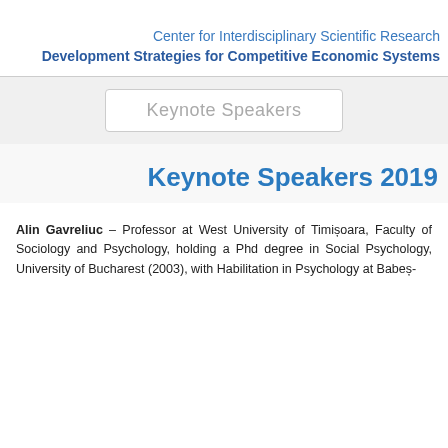Center for Interdisciplinary Scientific Research
Development Strategies for Competitive Economic Systems
Keynote Speakers
Keynote Speakers 2019
Alin Gavreliuc – Professor at West University of Timișoara, Faculty of Sociology and Psychology, holding a Phd degree in Social Psychology, University of Bucharest (2003), with Habilitation in Psychology at Babeș-